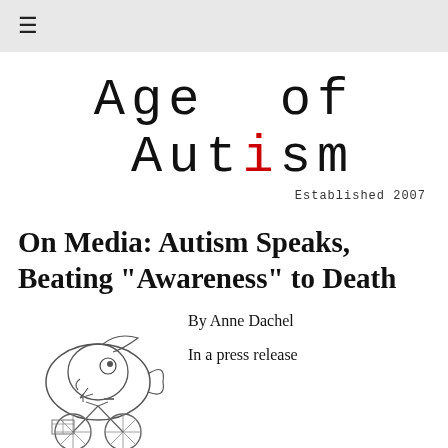≡
[Figure (logo): Age of Autism logo in typewriter font with red letter 'i' in Autism, subtitle 'Established 2007']
On Media: Autism Speaks, Beating "Awareness" to Death
[Figure (illustration): Pen and ink illustration of a cartoon fish character riding a bicycle]
By Anne Dachel
In a press release